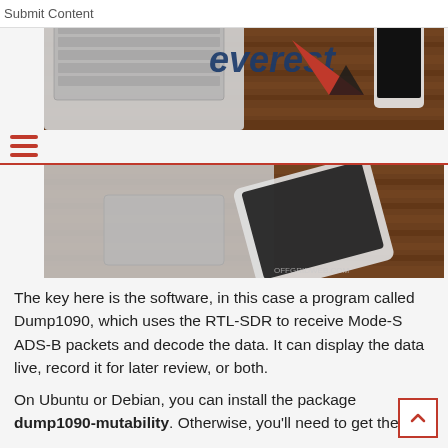Submit Content
[Figure (photo): Top banner image showing a laptop keyboard, tablet, smartphone on a wooden desk surface with the Everest logo (red mountain triangle and blue text) overlaid]
[Figure (photo): Lower portion of the same banner image showing laptop trackpad area, tablet on wooden desk surface, with offgridweb.com watermark]
The key here is the software, in this case a program called Dump1090, which uses the RTL-SDR to receive Mode-S ADS-B packets and decode the data. It can display the data live, record it for later review, or both.
On Ubuntu or Debian, you can install the package dump1090-mutability. Otherwise, you'll need to get the